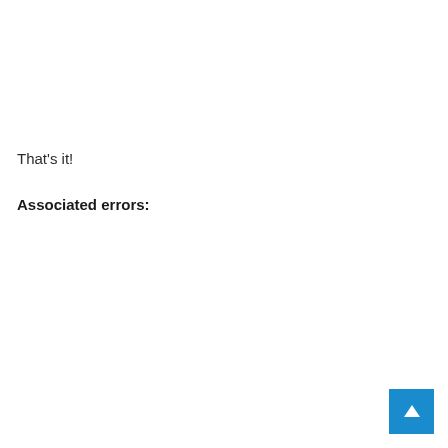That's it!
Associated errors:
[Figure (other): Back to top button — blue square with white upward arrow]